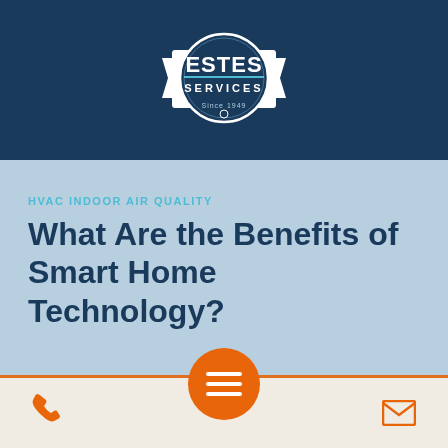[Figure (logo): Estes Services logo — circular badge with 'ESTES' in large bold text, 'SERVICES' below, 'Since 1949' at bottom, white on dark navy blue background]
HVAC INDOOR AIR QUALITY
What Are the Benefits of Smart Home Technology?
[Figure (other): Orange circular hamburger menu button with three white horizontal lines]
[Figure (other): Orange phone icon in footer left]
[Figure (other): Orange email/envelope icon in footer right]